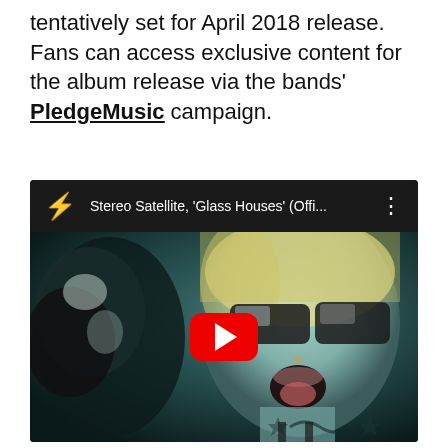tentatively set for April 2018 release. Fans can access exclusive content for the album release via the bands' PledgeMusic campaign.
[Figure (screenshot): YouTube video embed showing Stereo Satellite 'Glass Houses' (Offi... music video thumbnail. A performer with blonde hair, large reflective sunglasses and tattoos, mouth open, against a dark stylized background. Red play button in center. YouTube-style top bar with red lightning bolt icon and video title.]